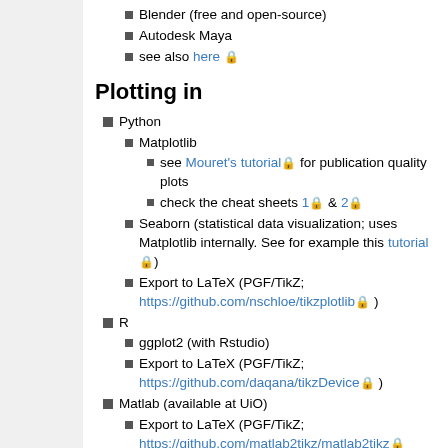Blender (free and open-source)
Autodesk Maya
see also here 🔒
Plotting in
Python
Matplotlib
see Mouret's tutorial 🔒 for publication quality plots
check the cheat sheets 1 🔒 & 2 🔒
Seaborn (statistical data visualization; uses Matplotlib internally. See for example this tutorial 🔒)
Export to LaTeX (PGF/TikZ; https://github.com/nschloe/tikzplotlib 🔒)
R
ggplot2 (with Rstudio)
Export to LaTeX (PGF/TikZ; https://github.com/daqana/tikzDevice 🔒)
Matlab (available at UiO)
Export to LaTeX (PGF/TikZ; https://github.com/matlab2tikz/matlab2tikz 🔒)